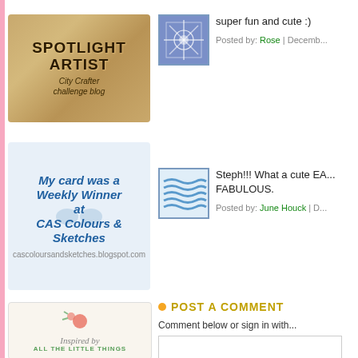[Figure (logo): Spotlight Artist City Crafter challenge blog badge with tan/gold background]
[Figure (logo): My card was a Weekly Winner at CAS Colours & Sketches - cascoloursandsketches.blogspot.com]
[Figure (logo): Inspired by All The Little Things blog badge with floral illustration]
[Figure (illustration): Blue geometric/snowflake pattern square icon]
super fun and cute :)
Posted by: Rose | Decemb...
[Figure (illustration): Blue wavy lines square icon]
Steph!!! What a cute EA... FABULOUS.
Posted by: June Houck | D...
POST A COMMENT
Comment below or sign in with...